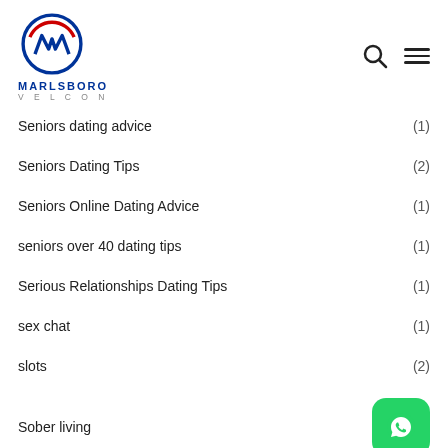Marlsboro Velcon
Seniors dating advice (1)
Seniors Dating Tips (2)
Seniors Online Dating Advice (1)
seniors over 40 dating tips (1)
Serious Relationships Dating Tips (1)
sex chat (1)
slots (2)
Sober living
Software development (1)